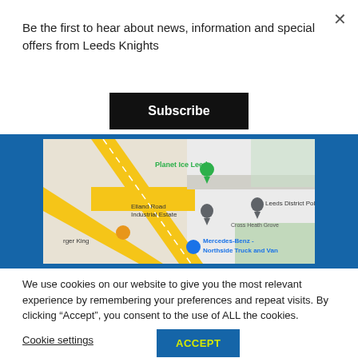Be the first to hear about news, information and special offers from Leeds Knights
Subscribe
[Figure (map): Google Maps showing area around Planet Ice Leeds, Elland Road Industrial Estate, Leeds District Police, Burger King, Mercedes-Benz Northside Truck and Van, Cross Heath Grove]
We use cookies on our website to give you the most relevant experience by remembering your preferences and repeat visits. By clicking “Accept”, you consent to the use of ALL the cookies.
Cookie settings
ACCEPT